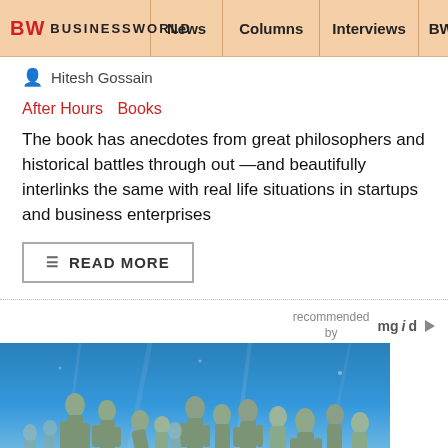BW BUSINESSWORLD | News | Columns | Interviews | BW
Hitesh Gossain
After Hours  Books
The book has anecdotes from great philosophers and historical battles through out —and beautifully interlinks the same with real life situations in startups and business enterprises
READ MORE
recommended by mgid
[Figure (photo): Underwater sculpture garden with human figures covered in algae, photographed underwater with blue water background]